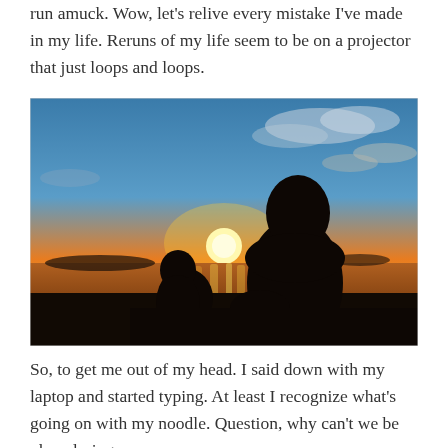run amuck. Wow, let’s relive every mistake I’ve made in my life. Reruns of my life seem to be on a projector that just loops and loops.
[Figure (photo): Silhouette of two people sitting together against a sunset over water, with orange and blue sky and clouds in the background.]
So, to get me out of my head. I said down with my laptop and started typing. At least I recognize what’s going on with my noodle. Question, why can’t we be okay during